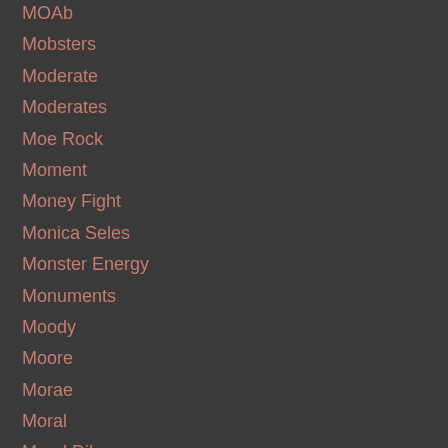MOAb
Mobsters
Moderate
Moderates
Moe Rock
Moment
Money Fight
Monica Seles
Monster Energy
Monuments
Moody
Moore
Morae
Moral
Moral Dilemma
Morale
Morals
Morbid
Mormon
Mormons
Moscow